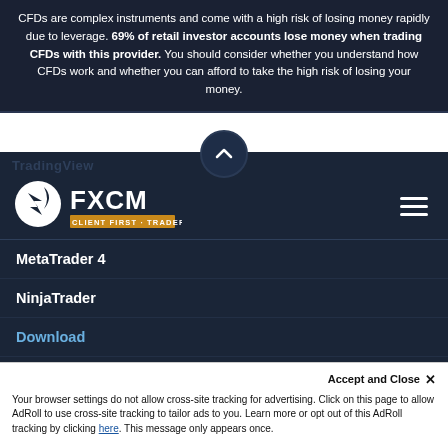CFDs are complex instruments and come with a high risk of losing money rapidly due to leverage. 69% of retail investor accounts lose money when trading CFDs with this provider. You should consider whether you understand how CFDs work and whether you can afford to take the high risk of losing your money.
[Figure (logo): FXCM logo with tagline CLIENT FIRST · TRADER DRIVEN on an orange bar, with stylized arrow/lightning bolt icon]
MetaTrader 4
NinjaTrader
Download
Download Trading Station
Download Mobile
Download MetaTrader 4
Accept and Close ✕
Your browser settings do not allow cross-site tracking for advertising. Click on this page to allow AdRoll to use cross-site tracking to tailor ads to you. Learn more or opt out of this AdRoll tracking by clicking here. This message only appears once.